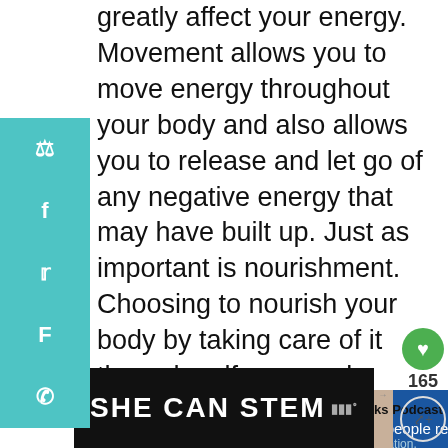greatly affect your energy. Movement allows you to move energy throughout your body and also allows you to release and let go of any negative energy that may have built up. Just as important is nourishment. Choosing to nourish your body by taking care of it through self-care and feeding yourself foods that will help you instead of make you feel worse helps an incredible amount in keeping you high vibrate.
[Figure (screenshot): Social media share sidebar with Pinterest, Facebook, Twitter, Flipboard, and WhatsApp icons on teal background]
[Figure (infographic): Heart save button (green circle) with count 165 and share button below]
162 SHARES
[Figure (screenshot): Advertisement banner: Give support to people recovering from... Make a year-end donation. Blue background with family photo.]
WHAT'S NEXT → Happy Tracks Podcast
[Figure (screenshot): SHE CAN STEM banner advertisement on dark background]